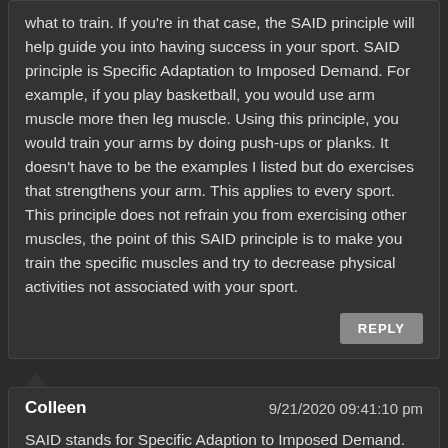what to train. If you're in that case, the SAID principle will help guide you into having success in your sport. SAID principle is Specific Adaptation to Imposed Demand. For example, if you play basketball, you would use arm muscle more then leg muscle. Using this principle, you would train your arms by doing push-ups or planks. It doesn't have to be the examples I listed but do exercises that strengthens your arm. This applies to every sport. This principle does not refrain you from exercising other muscles, the point of this SAID principle is to make you train the specific muscles and try to decrease physical activities not associated with your sport.
REPLY
Colleen
9/21/2020 09:41:10 pm
SAID stands for Specific Adaption to Imposed Demand. That means if you keep on practicing you will get better. For example, let's say I want to run for 15 minutes everyday. Of course when I first start running, I won't be the best at it. But, if I keep on running and running every single day, I will eventually be able to run 15 minutes everyday easily, maybe even be able to run more. It also means that if you do one thing that's not